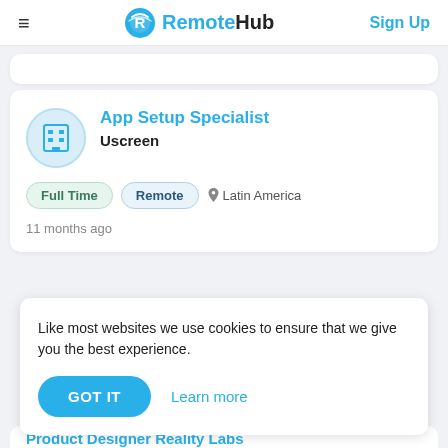RemoteHub — Sign Up
App Setup Specialist
Uscreen
Full Time
Remote
Latin America
11 months ago
Like most websites we use cookies to ensure that we give you the best experience.
GOT IT   Learn more
Product Designer Reality Labs